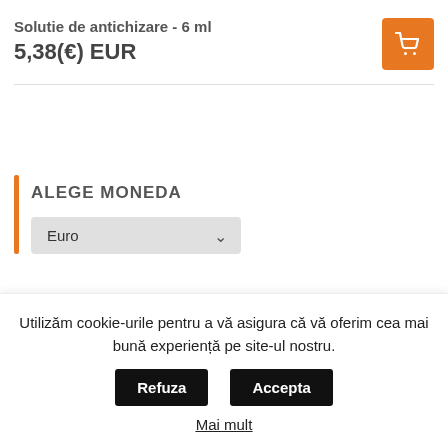Solutie de antichizare - 6 ml
5,38(€) EUR
ALEGE MONEDA
Euro
Utilizăm cookie-urile pentru a vă asigura că vă oferim cea mai bună experiență pe site-ul nostru.
Accepta
Refuza
Mai mult